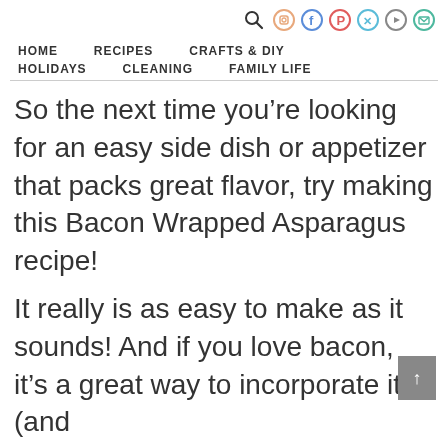HOME   RECIPES   CRAFTS & DIY   HOLIDAYS   CLEANING   FAMILY LIFE
So the next time you’re looking for an easy side dish or appetizer that packs great flavor, try making this Bacon Wrapped Asparagus recipe!
It really is as easy to make as it sounds! And if you love bacon, it’s a great way to incorporate it (and add some veggies into the mix)!